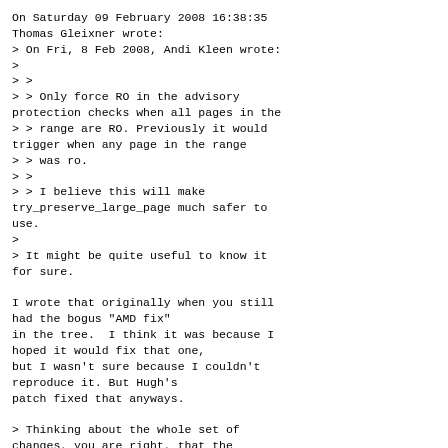On Saturday 09 February 2008 16:38:35 Thomas Gleixner wrote:
> On Fri, 8 Feb 2008, Andi Kleen wrote:
>
> >
> > Only force RO in the advisory protection checks when all pages in the
> > range are RO. Previously it would trigger when any page in the range
> > was ro.
> >
> > I believe this will make try_preserve_large_page much safer to use.
>
> It might be quite useful to know it for sure.

I wrote that originally when you still had the bogus "AMD fix"
in the tree.  I think it was because I hoped it would fix that one,
but I wasn't sure because I couldn't reproduce it. But Hugh's
patch fixed that anyways.

> Thinking about the whole set of changes, you are right, that the
> current check for the first page only